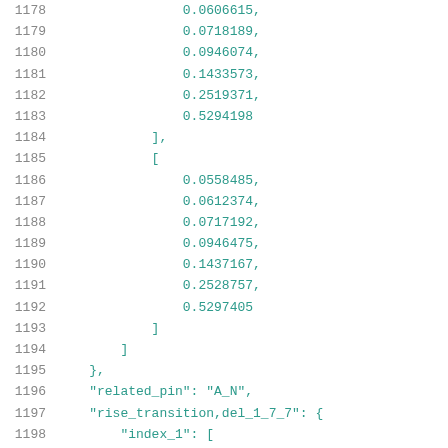1178    0.0606615,
1179    0.0718189,
1180    0.0946074,
1181    0.1433573,
1182    0.2519371,
1183    0.5294198
1184    ],
1185    [
1186    0.0558485,
1187    0.0612374,
1188    0.0717192,
1189    0.0946475,
1190    0.1437167,
1191    0.2528757,
1192    0.5297405
1193    ]
1194    ]
1195    },
1196    "related_pin": "A_N",
1197    "rise_transition,del_1_7_7": {
1198    "index_1": [